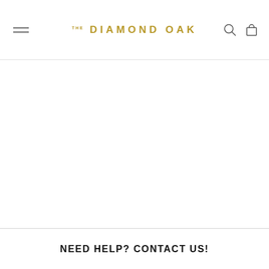THE DIAMOND OAK
NEED HELP? CONTACT US!